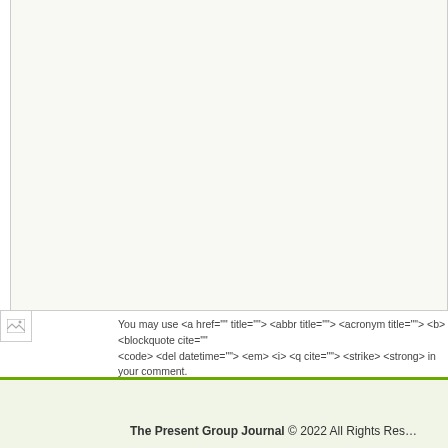[Figure (screenshot): Comment text input area — large empty textarea with light yellowish-white background and grey border]
[Figure (photo): Broken image icon (small, top-left of page)]
You may use <a href="" title=""> <abbr title=""> <acronym title=""> <b> <blockquote cite=""> <code> <del datetime=""> <em> <i> <q cite=""> <strike> <strong> in your comment.
Contribute your thoughts
Additional comments powered by BackType
The Present Group Journal © 2022 All Rights Reserved